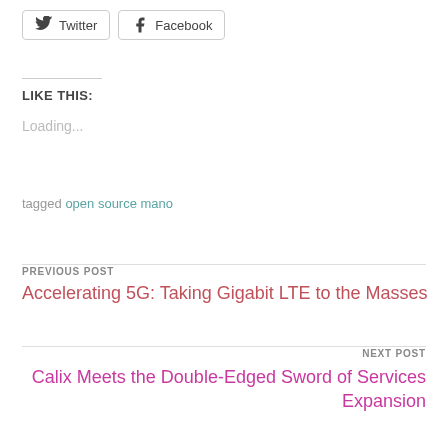[Figure (other): Twitter and Facebook share buttons with icons]
LIKE THIS:
Loading...
tagged open source mano
PREVIOUS POST
Accelerating 5G: Taking Gigabit LTE to the Masses
NEXT POST
Calix Meets the Double-Edged Sword of Services Expansion